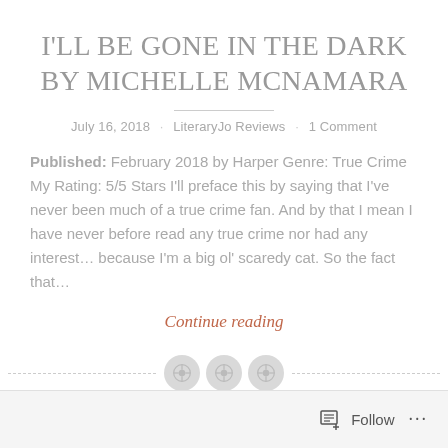I'LL BE GONE IN THE DARK BY MICHELLE MCNAMARA
July 16, 2018 · LiteraryJo Reviews · 1 Comment
Published: February 2018 by Harper Genre: True Crime My Rating: 5/5 Stars I'll preface this by saying that I've never been much of a true crime fan. And by that I mean I have never before read any true crime nor had any interest… because I'm a big ol' scaredy cat. So the fact that…
Continue reading
Follow